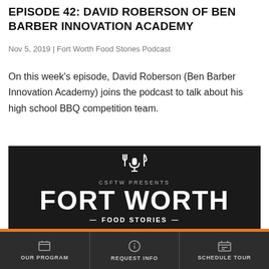EPISODE 42: DAVID ROBERSON OF BEN BARBER INNOVATION ACADEMY
Nov 5, 2019 | Fort Worth Food Stories Podcast
On this week's episode, David Roberson (Ben Barber Innovation Academy) joins the podcast to talk about his high school BBQ competition team.
[Figure (logo): Fort Worth Food Stories podcast logo on black background: fork and microphone and knife icon above text 'CSFTW PRESENTS', large bold 'FORT WORTH', and '— FOOD STORIES —']
OUR PROGRAM | REQUEST INFO | SCHEDULE TOUR